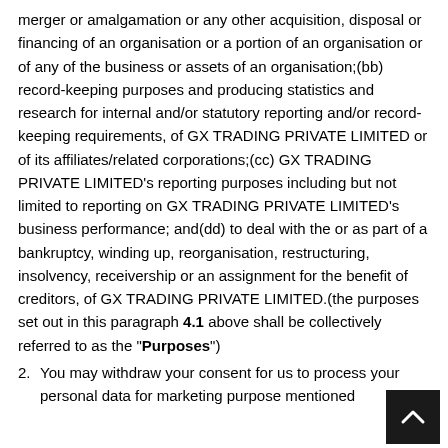merger or amalgamation or any other acquisition, disposal or financing of an organisation or a portion of an organisation or of any of the business or assets of an organisation;(bb) record-keeping purposes and producing statistics and research for internal and/or statutory reporting and/or record-keeping requirements, of GX TRADING PRIVATE LIMITED or of its affiliates/related corporations;(cc) GX TRADING PRIVATE LIMITED's reporting purposes including but not limited to reporting on GX TRADING PRIVATE LIMITED's business performance; and(dd) to deal with the or as part of a bankruptcy, winding up, reorganisation, restructuring, insolvency, receivership or an assignment for the benefit of creditors, of GX TRADING PRIVATE LIMITED.(the purposes set out in this paragraph 4.1 above shall be collectively referred to as the "Purposes")
You may withdraw your consent for us to process your personal data for marketing purpose mentioned